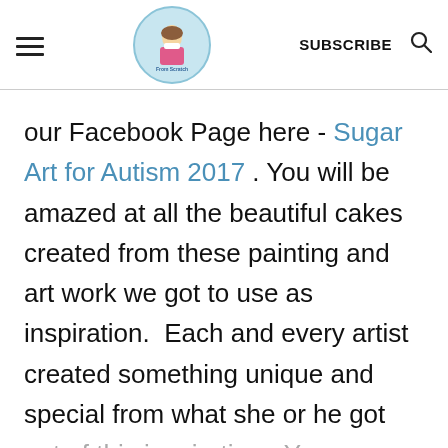[hamburger menu] [logo: From Scratch] SUBSCRIBE [search icon]
our Facebook Page here - Sugar Art for Autism 2017 . You will be amazed at all the beautiful cakes created from these painting and art work we got to use as inspiration.  Each and every artist created something unique and special from what she or he got out of this inspiration.  You can